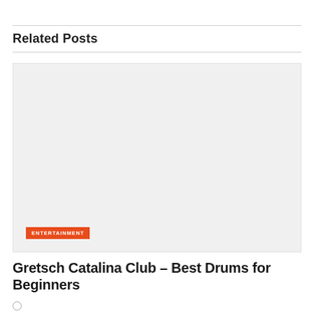Related Posts
[Figure (photo): Large placeholder image with an orange 'ENTERTAINMENT' category badge in the bottom-left corner]
Gretsch Catalina Club – Best Drums for Beginners